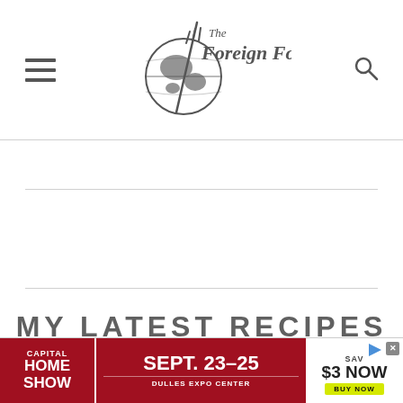The Foreign Fork — navigation header with menu icon, logo, and search icon
MY LATEST RECIPES
[Figure (other): Advertisement banner: Capital Home Show, Sept. 23-25, Dulles Expo Center, Save $3 Now, Buy Now button]